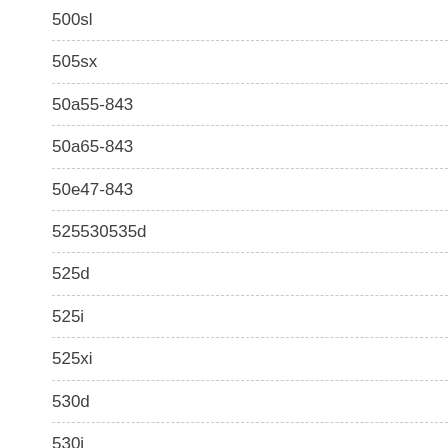500sl
505sx
50a55-843
50a65-843
50e47-843
525530535d
525d
525i
525xi
530d
530i